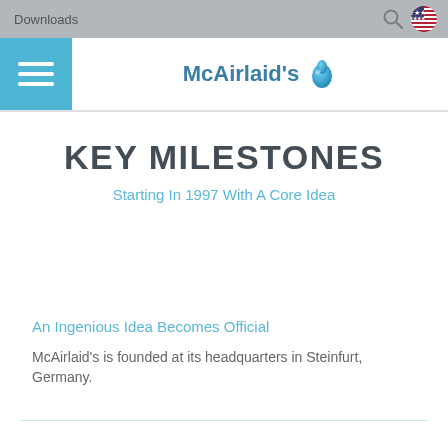Downloads
[Figure (logo): McAirlaid's logo with blue droplet icon]
KEY MILESTONES
Starting In 1997 With A Core Idea
An Ingenious Idea Becomes Official
McAirlaid's is founded at its headquarters in Steinfurt, Germany.